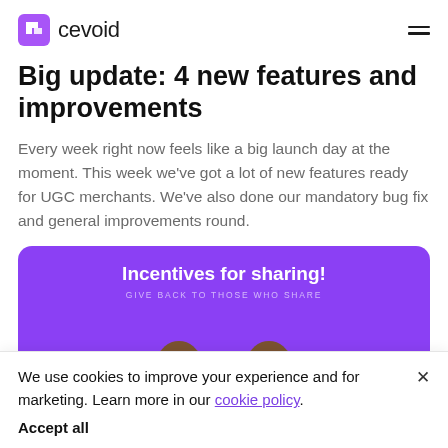cevoid
Big update: 4 new features and improvements
Every week right now feels like a big launch day at the moment. This week we've got a lot of new features ready for UGC merchants. We've also done our mandatory bug fix and general improvements round.
[Figure (illustration): Purple promotional card with text 'Incentives for sharing!' and subtitle 'GIVE BACK TO THOSE WHO SHARE', with hands visible at the bottom of the card.]
We use cookies to improve your experience and for marketing. Learn more in our cookie policy. Accept all